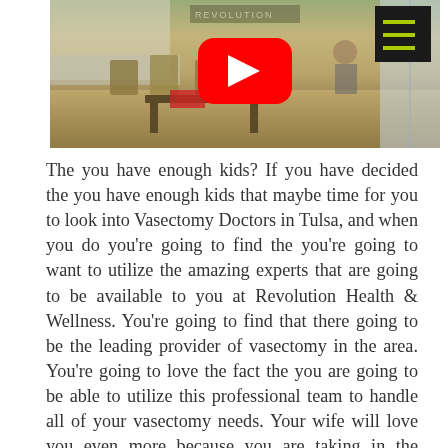[Figure (screenshot): YouTube video thumbnail showing a waiting room/lobby area with chairs, a table, and a 'REVOLUTION' sign in the background. A red YouTube play button is overlaid in the center. A dark hamburger menu button with green lines is in the top-right corner.]
The you have enough kids? If you have decided the you have enough kids that maybe time for you to look into Vasectomy Doctors in Tulsa, and when you do you're going to find the you're going to want to utilize the amazing experts that are going to be available to you at Revolution Health & Wellness. You're going to find that there going to be the leading provider of vasectomy in the area. You're going to love the fact the you are going to be able to utilize this professional team to handle all of your vasectomy needs. Your wife will love you even more because you are taking in the personal responsibility your self to get that vasectomy instead of waiting to go check in the hospital, and